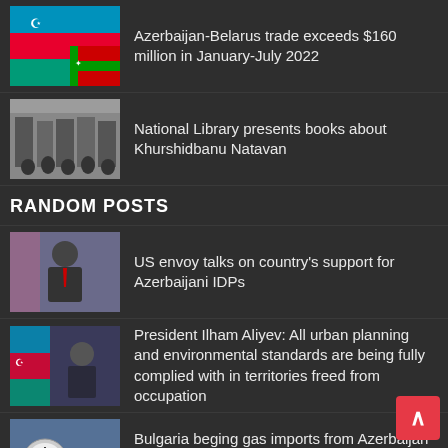[Figure (photo): Azerbaijan and Belarus flags thumbnail]
Azerbaijan-Belarus trade exceeds $160 million in January-July 2022
[Figure (photo): National Library event with people standing thumbnail]
National Library presents books about Khurshidbanu Natavan
RANDOM POSTS
[Figure (photo): US envoy portrait thumbnail]
US envoy talks on country's support for Azerbaijani IDPs
[Figure (photo): President Ilham Aliyev with Azerbaijan flag thumbnail]
President Ilham Aliyev: All urban planning and environmental standards are being fully complied with in territories freed from occupation
[Figure (photo): Gas pipes thumbnail]
Bulgaria beging gas imports from Azerbaijan providing Sofia with diversified source of supply – S&P